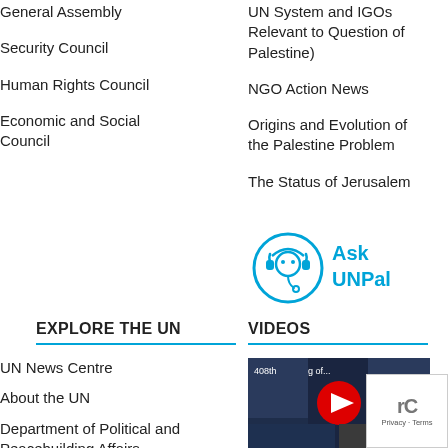General Assembly
Security Council
Human Rights Council
Economic and Social Council
UN System and IGOs Relevant to Question of Palestine)
NGO Action News
Origins and Evolution of the Palestine Problem
The Status of Jerusalem
[Figure (logo): Ask UNPal chatbot logo with headset icon and blue text reading Ask UNPal]
EXPLORE THE UN
VIDEOS
UN News Centre
About the UN
Department of Political and Peacebuilding Affairs
Live UN Webcast
[Figure (screenshot): YouTube video thumbnail showing 408th meeting of... with play button, and two smaller thumbnail images below]